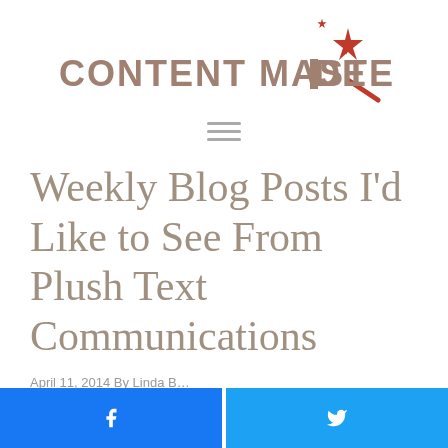[Figure (logo): Content Mastery Guide logo with stylized text and sparkle/wand graphic in red and tan/brown colors]
[Figure (other): Hamburger menu icon with three horizontal grey lines]
Weekly Blog Posts I'd Like to See From Plush Text Communications
April 11, 2014 By Linda B...
[Figure (other): Facebook share button (blue) and Twitter share button (blue) side by side at bottom of page]